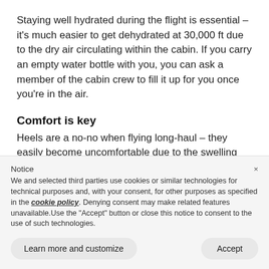Staying well hydrated during the flight is essential – it's much easier to get dehydrated at 30,000 ft due to the dry air circulating within the cabin. If you carry an empty water bottle with you, you can ask a member of the cabin crew to fill it up for you once you're in the air.
Comfort is key
Heels are a no-no when flying long-haul – they easily become uncomfortable due to the swelling
Notice
We and selected third parties use cookies or similar technologies for technical purposes and, with your consent, for other purposes as specified in the cookie policy. Denying consent may make related features unavailable.Use the "Accept" button or close this notice to consent to the use of such technologies.
Learn more and customize
Accept